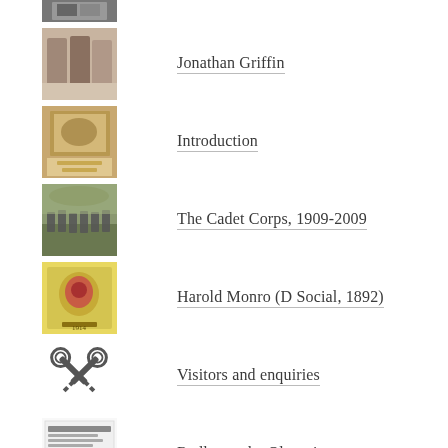[Figure (photo): Partial thumbnail at top, cut off, showing a building or historical photo]
Jonathan Griffin
Introduction
The Cadet Corps, 1909-2009
Harold Monro (D Social, 1892)
Visitors and enquiries
Radley at the Olympics
Commemorating the Fallen of WW1